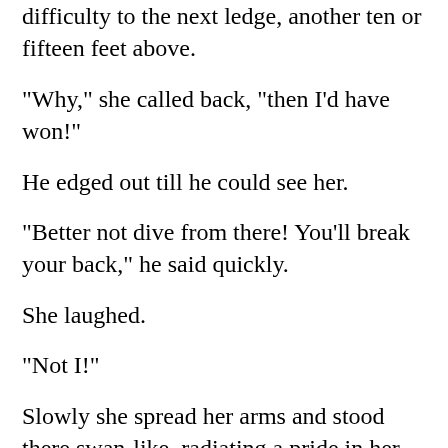difficulty to the next ledge, another ten or fifteen feet above.
"Why," she called back, "then I’d have won!"
He edged out till he could see her.
"Better not dive from there! You’ll break your back," he said quickly.
She laughed.
"Not I!"
Slowly she spread her arms and stood there swan-like, radiating a pride in her young perfection that lit a